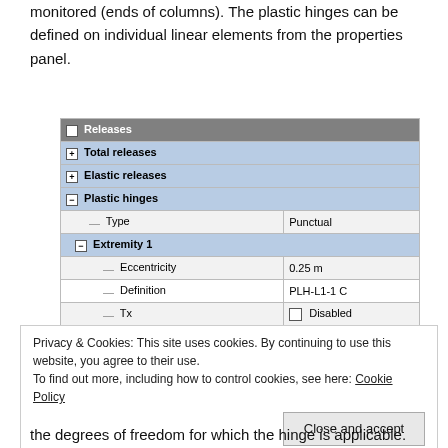monitored (ends of columns). The plastic hinges can be defined on individual linear elements from the properties panel.
[Figure (screenshot): Properties panel screenshot showing Releases section with Total releases, Elastic releases, and Plastic hinges groups. Plastic hinges expanded showing Type: Punctual, Extremity 1 with Eccentricity 0.25 m, Definition PLH-L1-1 C, Tx Disabled, Ry Enabled, Rz Enabled, and Extremity 2 with Eccentricity 0.25 m.]
Privacy & Cookies: This site uses cookies. By continuing to use this website, you agree to their use.
To find out more, including how to control cookies, see here: Cookie Policy
Close and accept
the degrees of freedom for which the hinge is applicable.